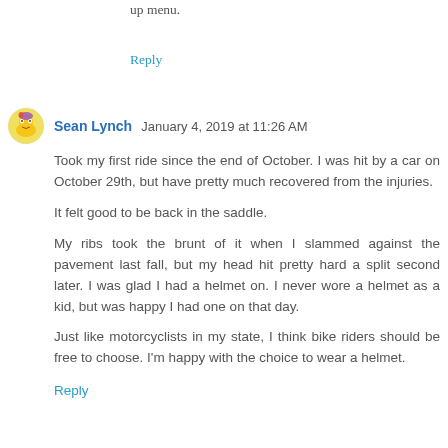up menu.
Reply
Sean Lynch January 4, 2019 at 11:26 AM
Took my first ride since the end of October. I was hit by a car on October 29th, but have pretty much recovered from the injuries.
It felt good to be back in the saddle.
My ribs took the brunt of it when I slammed against the pavement last fall, but my head hit pretty hard a split second later. I was glad I had a helmet on. I never wore a helmet as a kid, but was happy I had one on that day.
Just like motorcyclists in my state, I think bike riders should be free to choose. I'm happy with the choice to wear a helmet.
Reply